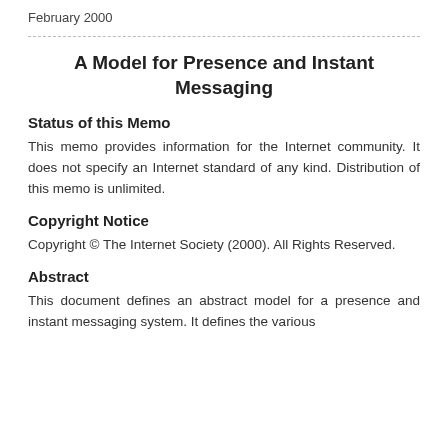February 2000
A Model for Presence and Instant Messaging
Status of this Memo
This memo provides information for the Internet community. It does not specify an Internet standard of any kind. Distribution of this memo is unlimited.
Copyright Notice
Copyright © The Internet Society (2000). All Rights Reserved.
Abstract
This document defines an abstract model for a presence and instant messaging system. It defines the various